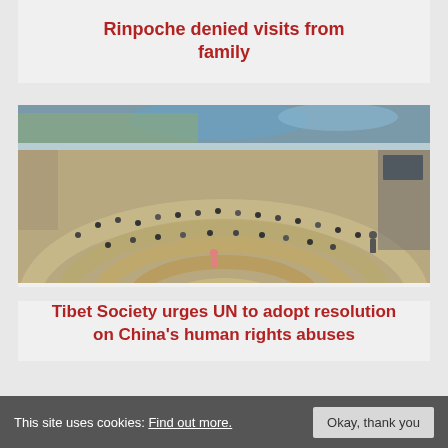Rinpoche denied visits from family
[Figure (photo): Wide-angle overhead view of a large UN-style assembly hall filled with delegates seated at curved rows of desks]
Tibet Society urges UN to adopt resolution on China's human rights abuses
This site uses cookies: Find out more.  Okay, thank you